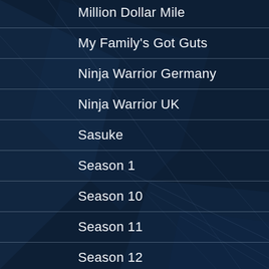Million Dollar Mile
My Family's Got Guts
Ninja Warrior Germany
Ninja Warrior UK
Sasuke
Season 1
Season 10
Season 11
Season 12
Season 13
Season 2